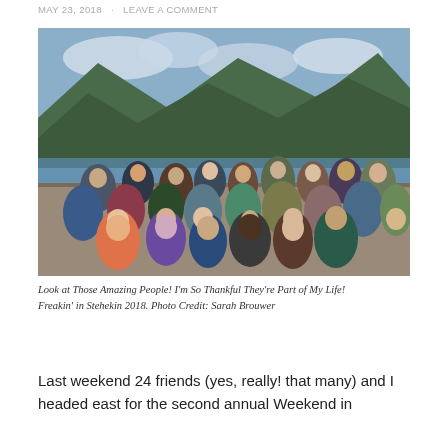MAY 23, 2018   ·   LEAVE A COMMENT
[Figure (photo): Group photo of approximately 24 friends standing and sitting together outdoors near a lake with mountains and cloudy sky in the background. Many are wearing sunglasses and casual summer/outdoor clothing.]
Look at Those Amazing People! I'm So Thankful They're Part of My Life! Freakin' in Stehekin 2018. Photo Credit: Sarah Brouwer
Last weekend 24 friends (yes, really! that many) and I headed east for the second annual Weekend in